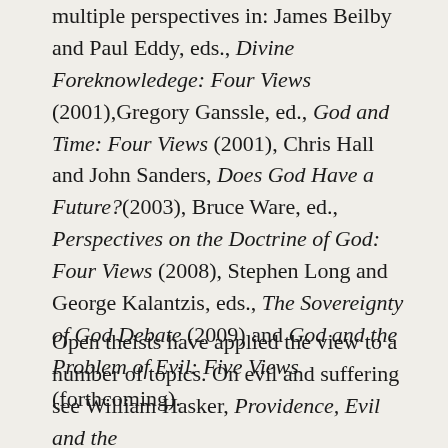multiple perspectives in: James Beilby and Paul Eddy, eds., Divine Foreknowledege: Four Views (2001),Gregory Ganssle, ed., God and Time: Four Views (2001), Chris Hall and John Sanders, Does God Have a Future?(2003), Bruce Ware, ed., Perspectives on the Doctrine of God: Four Views (2008), Stephen Long and George Kalantzis, eds., The Sovereignty of God Debate (2009) and God and the Problem of Evil: Five Views (forthcoming).
Open theists have applied the view to a number of topics. On evil and suffering see William Hasker, Providence, Evil and the